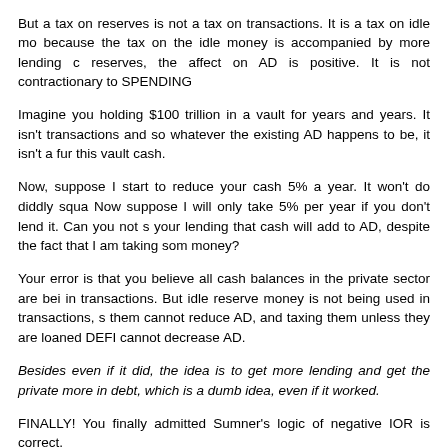But a tax on reserves is not a tax on transactions. It is a tax on idle mo... because the tax on the idle money is accompanied by more lending c... reserves, the affect on AD is positive. It is not contractionary to SPENDING
Imagine you holding $100 trillion in a vault for years and years. It isn't transactions and so whatever the existing AD happens to be, it isn't a fur... this vault cash.
Now, suppose I start to reduce your cash 5% a year. It won't do diddly squa... Now suppose I will only take 5% per year if you don't lend it. Can you not s... your lending that cash will add to AD, despite the fact that I am taking som... money?
Your error is that you believe all cash balances in the private sector are bei... in transactions. But idle reserve money is not being used in transactions, s... them cannot reduce AD, and taxing them unless they are loaned DEFI... cannot decrease AD.
Besides even if it did, the idea is to get more lending and get the private... more in debt, which is a dumb idea, even if it worked.
FINALLY! You finally admitted Sumner's logic of negative IOR is correct.
I also disagree with taxing reserves as a matter of policy, because I agree w... that more debt is a stupid idea. But Sumner is ONLY talking about how increase.
——-
Since you finally conceded the point, I'm done. The rest of your po...